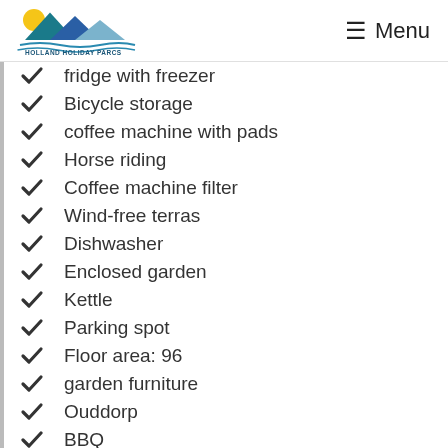Holland Holiday Parcs | Menu
fridge with freezer
Bicycle storage
coffee machine with pads
Horse riding
Coffee machine filter
Wind-free terras
Dishwasher
Enclosed garden
Kettle
Parking spot
Floor area: 96
garden furniture
Ouddorp
BBQ
Free Wi-Fi